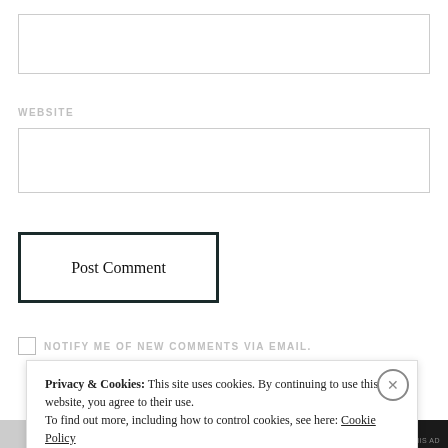[Figure (screenshot): Empty text input box at the top of a comment form]
WEBSITE
[Figure (screenshot): Empty website URL input box]
[Figure (screenshot): Post Comment button with dark border]
NOTIFY ME OF NEW COMMENTS VIA EMAIL.
[Figure (screenshot): Cookie consent banner: Privacy & Cookies: This site uses cookies. By continuing to use this website, you agree to their use. To find out more, including how to control cookies, see here: Cookie Policy. Close and accept button.]